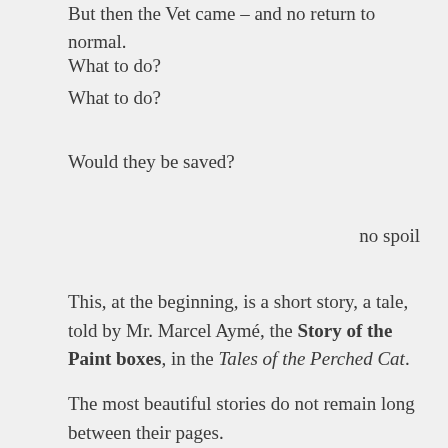But then the Vet came – and no return to normal.
What to do?
What to do?
Would they be saved?
no spoil
This, at the beginning, is a short story, a tale, told by Mr. Marcel Aymé, the Story of the Paint boxes, in the Tales of the Perched Cat.
The most beautiful stories do not remain long between their pages.